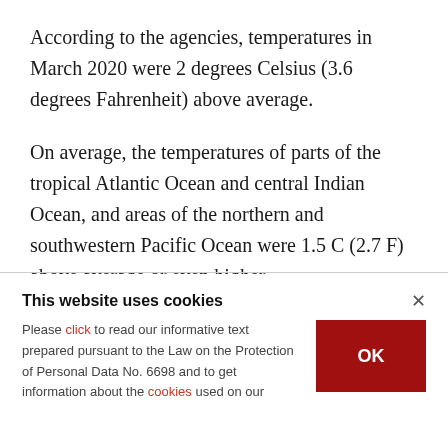According to the agencies, temperatures in March 2020 were 2 degrees Celsius (3.6 degrees Fahrenheit) above average.
On average, the temperatures of parts of the tropical Atlantic Ocean and central Indian Ocean, and areas of the northern and southwestern Pacific Ocean were 1.5 C (2.7 F) above average or even higher.
This website uses cookies
Please click to read our informative text prepared pursuant to the Law on the Protection of Personal Data No. 6698 and to get information about the cookies used on our